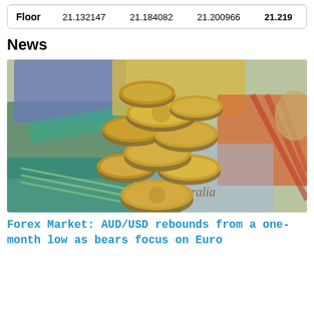| Floor | 21.132147 | 21.184082 | 21.200966 | 21.219 |
News
[Figure (photo): Photo of Australian dollar coins piled on top of colorful Australian banknotes spread out, with text 'alia ralia' visible on the notes.]
Forex Market: AUD/USD rebounds from a one-month low as bears focus on Euro